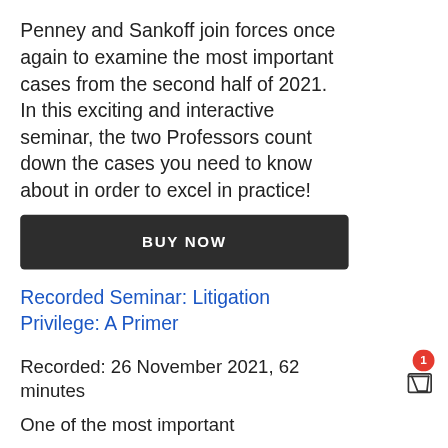Penney and Sankoff join forces once again to examine the most important cases from the second half of 2021.
In this exciting and interactive seminar, the two Professors count down the cases you need to know about in order to excel in practice!
BUY NOW
Recorded Seminar: Litigation Privilege: A Primer
Recorded: 26 November 2021, 62 minutes
One of the most important